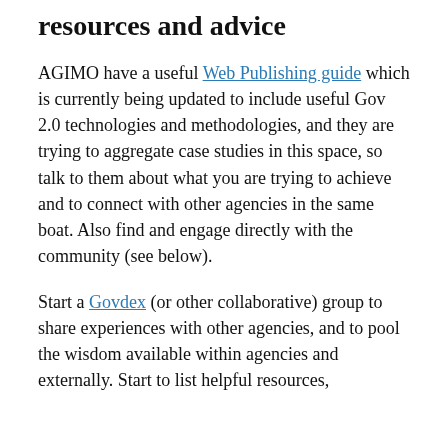resources and advice
AGIMO have a useful Web Publishing guide which is currently being updated to include useful Gov 2.0 technologies and methodologies, and they are trying to aggregate case studies in this space, so talk to them about what you are trying to achieve and to connect with other agencies in the same boat. Also find and engage directly with the community (see below).
Start a Govdex (or other collaborative) group to share experiences with other agencies, and to pool the wisdom available within agencies and externally. Start to list helpful resources,